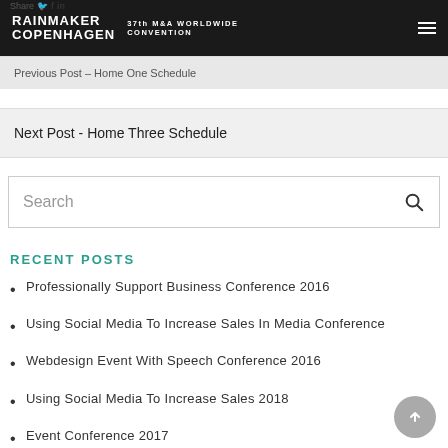RAINMAKER COPENHAGEN 37th M&A WORLDWIDE CONVENTION
Previous Post – Home One Schedule
Next Post - Home Three Schedule
Search
RECENT POSTS
Professionally Support Business Conference 2016
Using Social Media To Increase Sales In Media Conference
Webdesign Event With Speech Conference 2016
Using Social Media To Increase Sales 2018
Event Conference 2017